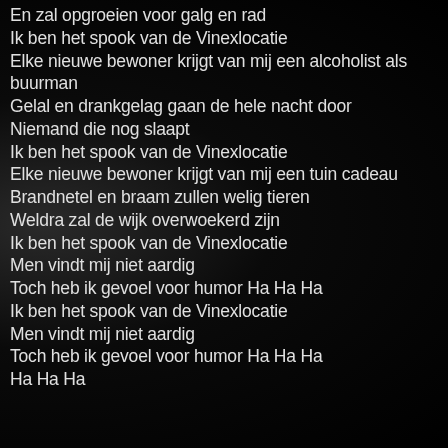En zal opgroeien voor galg en rad
Ik ben het spook van de Vinexlocatie
Elke nieuwe bewoner krijgt van mij een alcoholist als buurman
Gelal en drankgelag gaan de hele nacht door
Niemand die nog slaapt
Ik ben het spook van de Vinexlocatie
Elke nieuwe bewoner krijgt van mij een tuin cadeau
Brandnetel en braam zullen welig tieren
Weldra zal de wijk overwoekerd zijn
Ik ben het spook van de Vinexlocatie
Men vindt mij niet aardig
Toch heb ik gevoel voor humor Ha Ha Ha
Ik ben het spook van de Vinexlocatie
Men vindt mij niet aardig
Toch heb ik gevoel voor humor Ha Ha Ha
Ha Ha Ha